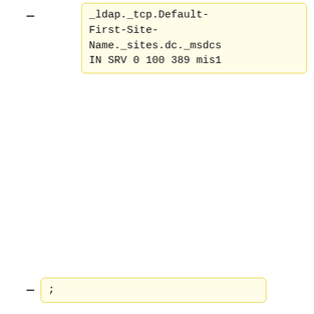_ldap._tcp.Default-First-Site-Name._sites.dc._msdcs IN SRV 0 100 389 mis1
;
; krb5 servers
_kerberos._tcp
IN SRV 0 100 88
mis1
_kerberos._tcp.dc._msdcs        IN SRV 0 100 88
mis1
_kerberos._tcp.Default-First-Site-Name._sites.dc._msdcs
IN SRV 0 100 88 mis1
_kerberos._udp
IN SRV 0 100 88